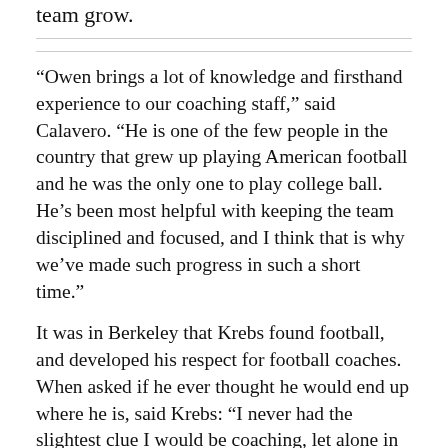team grow.
“Owen brings a lot of knowledge and firsthand experience to our coaching staff,” said Calavero. “He is one of the few people in the country that grew up playing American football and he was the only one to play college ball. He’s been most helpful with keeping the team disciplined and focused, and I think that is why we’ve made such progress in such a short time.”
It was in Berkeley that Krebs found football, and developed his respect for football coaches. When asked if he ever thought he would end up where he is, said Krebs: “I never had the slightest clue I would be coaching, let alone in